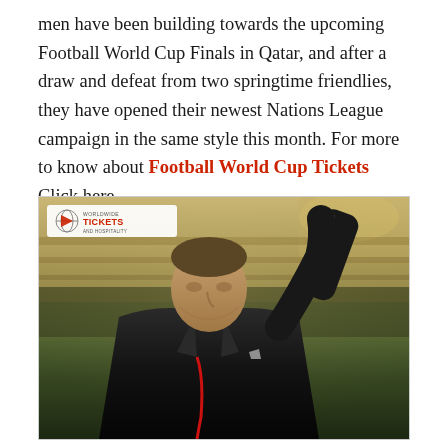men have been building towards the upcoming Football World Cup Finals in Qatar, and after a draw and defeat from two springtime friendlies, they have opened their newest Nations League campaign in the same style this month. For more to know about Football World Cup Tickets Click here.
[Figure (photo): A man in a dark suit with a red lanyard raising his right fist in the air, photographed at a stadium with stands visible in the background. A 'Worldwide Tickets and Hospitality' logo is visible in the top-left corner of the image.]